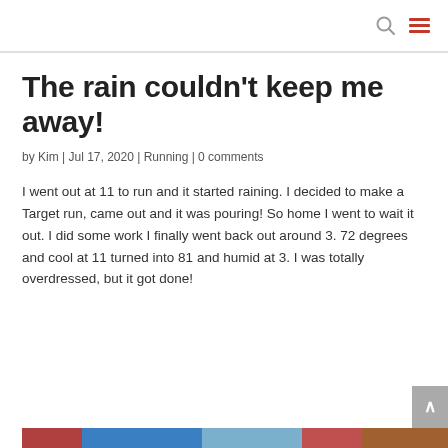[search icon] [menu icon]
The rain couldn't keep me away!
by Kim | Jul 17, 2020 | Running | 0 comments
I went out at 11 to run and it started raining. I decided to make a Target run, came out and it was pouring! So home I went to wait it out. I did some work I finally went back out around 3. 72 degrees and cool at 11 turned into 81 and humid at 3. I was totally overdressed, but it got done!
[Figure (photo): Partial image visible at the bottom of the page, showing what appears to be a colorful outdoor/running-related photo]